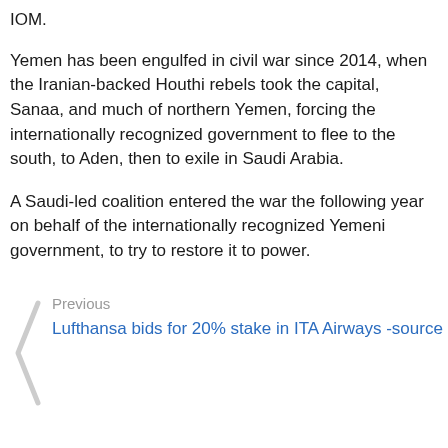IOM.
Yemen has been engulfed in civil war since 2014, when the Iranian-backed Houthi rebels took the capital, Sanaa, and much of northern Yemen, forcing the internationally recognized government to flee to the south, to Aden, then to exile in Saudi Arabia.
A Saudi-led coalition entered the war the following year on behalf of the internationally recognized Yemeni government, to try to restore it to power.
Previous
Lufthansa bids for 20% stake in ITA Airways -source
Next
Exclusive-Petrobras warned of diesel shortages